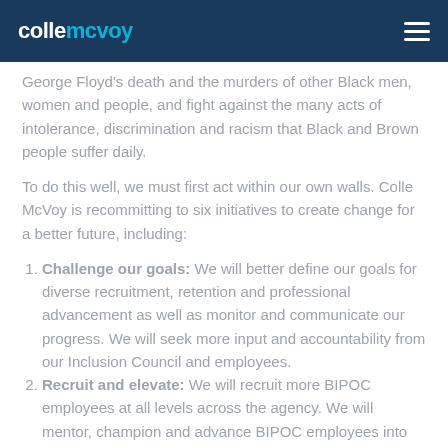collemcvoy
George Floyd's death and the murders of other Black men, women and people, and fight against the many acts of intolerance, discrimination and racism that Black and Brown people suffer daily.
To do this well, we must first act within our own walls. Colle McVoy is recommitting to six initiatives to create change for a better future, including:
Challenge our goals: We will better define our goals for diverse recruitment, retention and professional advancement as well as monitor and communicate our progress. We will seek more input and accountability from our Inclusion Council and employees.
Recruit and elevate: We will recruit more BIPOC employees at all levels across the agency. We will mentor, champion and advance BIPOC employees into senior roles.